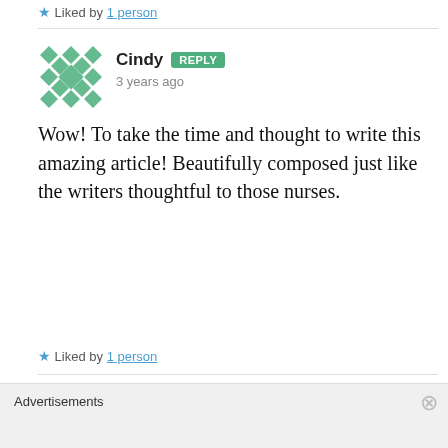★ Liked by 1 person
[Figure (illustration): Green geometric mosaic avatar for user Cindy]
Cindy REPLY
3 years ago
Wow! To take the time and thought to write this amazing article! Beautifully composed just like the writers thoughtful to those nurses.
★ Liked by 1 person
[Figure (illustration): Partial green geometric mosaic avatar for next commenter]
Evenly REPLY (partially visible)
Advertisements